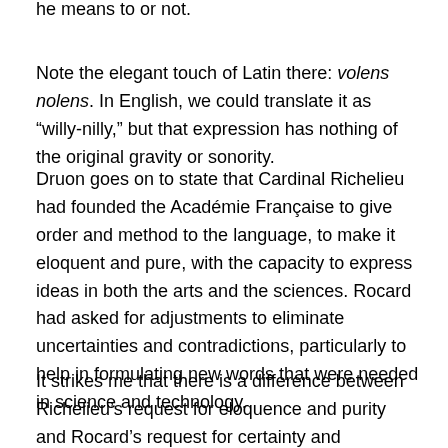he means to or not.
Note the elegant touch of Latin there: volens nolens. In English, we could translate it as “willy-nilly,” but that expression has nothing of the original gravity or sonority.
Druon goes on to state that Cardinal Richelieu had founded the Académie Française to give order and method to the language, to make it eloquent and pure, with the capacity to express ideas in both the arts and the sciences. Rocard had asked for adjustments to eliminate uncertainties and contradictions, particularly to help in formulating new words that were needed in science and technology.
It strikes me that there is a difference between Richelieu’s request for eloquence and purity and Rocard’s request for certainty and consistency, but let it pass.